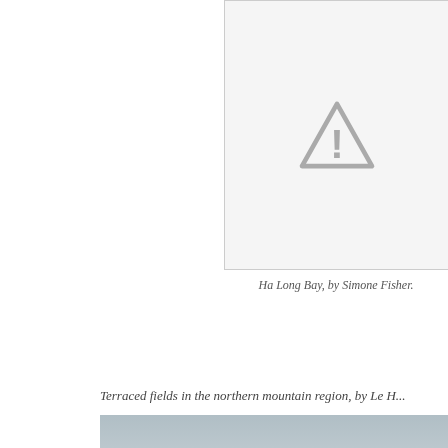[Figure (photo): Placeholder image box with warning triangle icon — Ha Long Bay photo unavailable]
Ha Long Bay, by Simone Fisher.
Terraced fields in the northern mountain region, by Le ...
[Figure (photo): A child lying on the back of a water buffalo in a misty field. Terraced fields in the northern mountain region.]